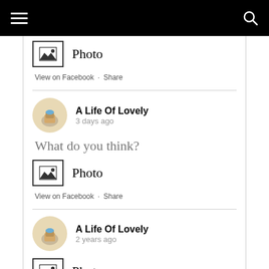[Figure (other): Photo icon with mountain/image symbol]
View on Facebook · Share
A Life Of Lovely
3 days ago
What do you think?
[Figure (other): Photo icon with mountain/image symbol]
View on Facebook · Share
A Life Of Lovely
2 years ago
[Figure (other): Photo icon with mountain/image symbol]